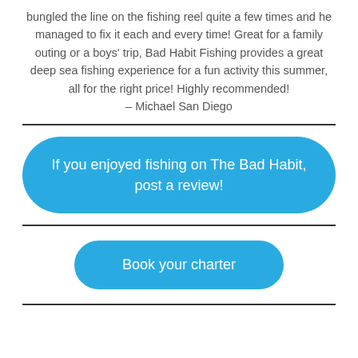bungled the line on the fishing reel quite a few times and he managed to fix it each and every time! Great for a family outing or a boys' trip, Bad Habit Fishing provides a great deep sea fishing experience for a fun activity this summer, all for the right price! Highly recommended!
– Michael San Diego
If you enjoyed fishing on The Bad Habit, post a review!
Book your charter